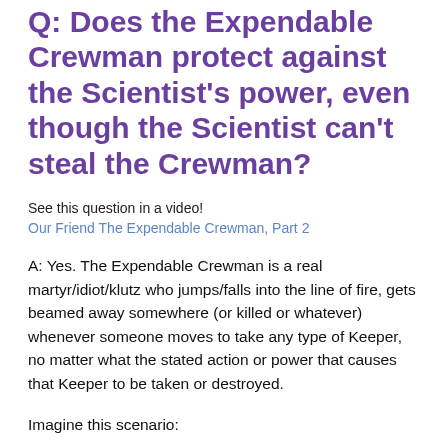Q: Does the Expendable Crewman protect against the Scientist's power, even though the Scientist can't steal the Crewman?
See this question in a video!
Our Friend The Expendable Crewman, Part 2
A: Yes. The Expendable Crewman is a real martyr/idiot/klutz who jumps/falls into the line of fire, gets beamed away somewhere (or killed or whatever) whenever someone moves to take any type of Keeper, no matter what the stated action or power that causes that Keeper to be taken or destroyed.
Imagine this scenario: